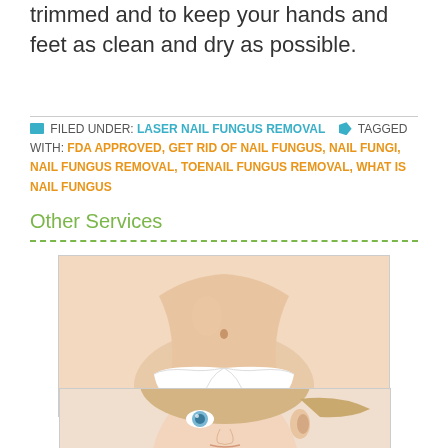trimmed and to keep your hands and feet as clean and dry as possible.
FILED UNDER: LASER NAIL FUNGUS REMOVAL  TAGGED WITH: FDA APPROVED, GET RID OF NAIL FUNGUS, NAIL FUNGI, NAIL FUNGUS REMOVAL, TOENAIL FUNGUS REMOVAL, WHAT IS NAIL FUNGUS
Other Services
[Figure (photo): Photo of a slim female torso in white underwear against white background, illustrating cellulite reduction service]
Cellulite Reduction
[Figure (photo): Close-up photo of a young blonde woman's face with blue eyes against white background]